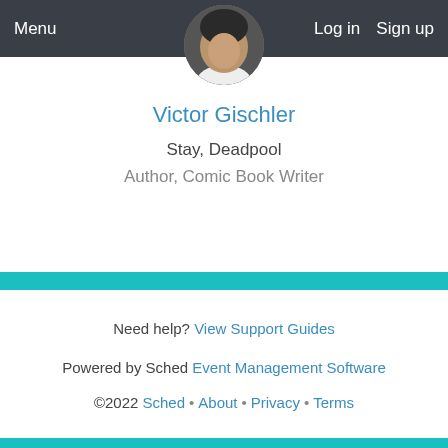Menu   Log in   Sign up
[Figure (photo): Circular cropped profile photo of Victor Gischler, partially visible at top of page]
Victor Gischler
Stay, Deadpool
Author, Comic Book Writer
Need help? View Support Guides
Powered by Sched Event Management Software
©2022 Sched • About • Privacy • Terms